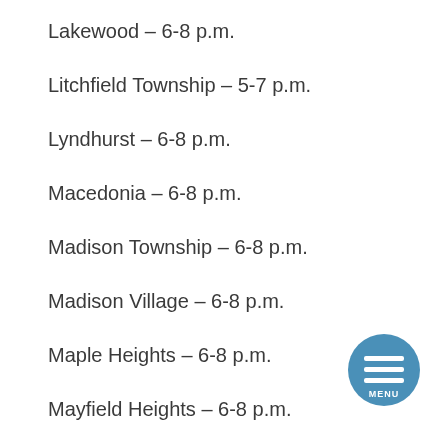Lakewood – 6-8 p.m.
Litchfield Township – 5-7 p.m.
Lyndhurst – 6-8 p.m.
Macedonia – 6-8 p.m.
Madison Township – 6-8 p.m.
Madison Village – 6-8 p.m.
Maple Heights – 6-8 p.m.
Mayfield Heights – 6-8 p.m.
Mayfield Village – 6-8:30 p.m.
Medina – 6-8 p.m.